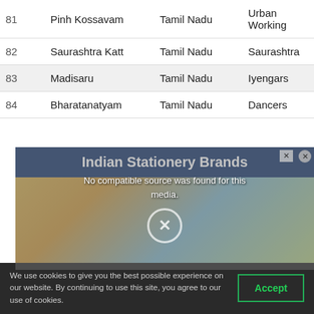| # | Name | State | Community |
| --- | --- | --- | --- |
| 81 | Pinh Kossavam | Tamil Nadu | Urban Working |
| 82 | Saurashtra Katt | Tamil Nadu | Saurashtra |
| 83 | Madisaru | Tamil Nadu | Iyengars |
| 84 | Bharatanatyam | Tamil Nadu | Dancers |
[Figure (screenshot): Video player showing stationery/arts-and-crafts image with 'No compatible source was found for this media.' overlay message and close buttons. An ad banner overlay reads 'Indian Stationery Brands'.]
We use cookies to give you the best possible experience on our website. By continuing to use this site, you agree to our use of cookies.